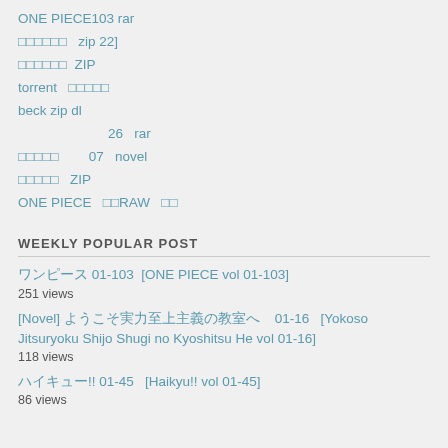ONE PIECE103 rar
□□□□□□  zip 22]
□□□□□□  ZIP
torrent  □□□□□
beck zip dl
26  rar
□□□□□  07  novel
□□□□□  ZIP
ONE PIECE  □□RAW  □□
WEEKLY POPULAR POST
ワンピース 01-103  [ONE PIECE vol 01-103]
251 views
[Novel] ようこそ実力至上主義の教室へ  01-16  [Yokoso Jitsuryoku Shijo Shugi no Kyoshitsu He vol 01-16]
118 views
ハイキュー!! 01-45  [Haikyu!! vol 01-45]
86 views